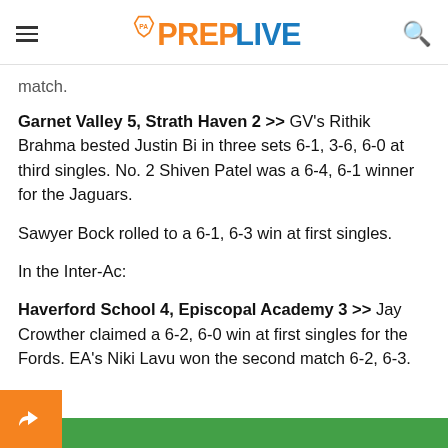PA PREPLIVE
match.
Garnet Valley 5, Strath Haven 2 >> GV's Rithik Brahma bested Justin Bi in three sets 6-1, 3-6, 6-0 at third singles. No. 2 Shiven Patel was a 6-4, 6-1 winner for the Jaguars.
Sawyer Bock rolled to a 6-1, 6-3 win at first singles.
In the Inter-Ac:
Haverford School 4, Episcopal Academy 3 >> Jay Crowther claimed a 6-2, 6-0 win at first singles for the Fords. EA's Niki Lavu won the second match 6-2, 6-3.